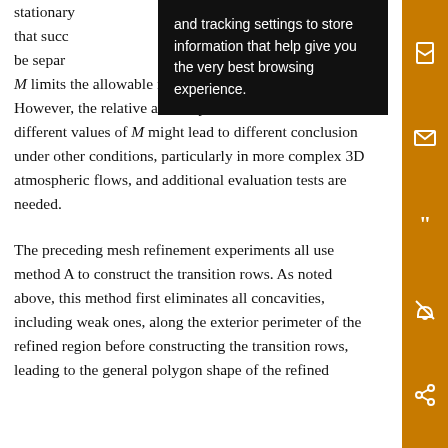stationary ... potential ... that successive ... be separate ... M limits the allowable rapidity of the overall transition. However, the relative accuracy that is achieved with different values of M might lead to different conclusions under other conditions, particularly in more complex 3D atmospheric flows, and additional evaluation tests are needed.
The preceding mesh refinement experiments all use method A to construct the transition rows. As noted above, this method first eliminates all concavities, including weak ones, along the exterior perimeter of the refined region before constructing the transition rows, leading to the general polygon shape of the refined
[Figure (other): Black tooltip overlay popup with white text: 'and tracking settings to store information that help give you the very best browsing experience.']